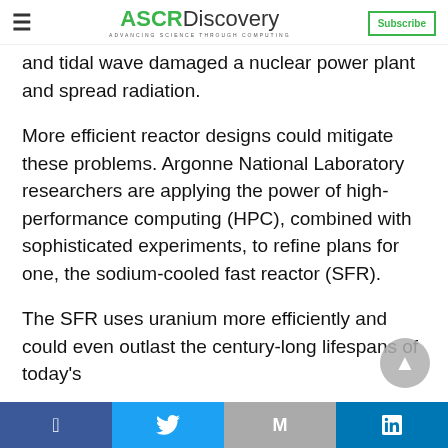ASCR Discovery — Advancing Science Through Computing | Subscribe
and tidal wave damaged a nuclear power plant and spread radiation.
More efficient reactor designs could mitigate these problems. Argonne National Laboratory researchers are applying the power of high-performance computing (HPC), combined with sophisticated experiments, to refine plans for one, the sodium-cooled fast reactor (SFR).
The SFR uses uranium more efficiently and could even outlast the century-long lifespans of today's
Facebook | Twitter | Gmail | LinkedIn